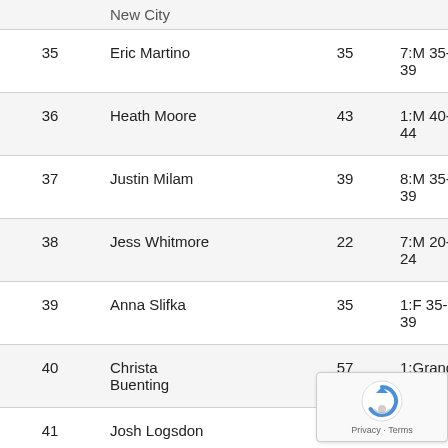| Place | Name | Age | Division |
| --- | --- | --- | --- |
|  | New City (partial) |  |  |
| 35 | Eric Martino | 35 | 7:M 35-39 |
| 36 | Heath Moore | 43 | 1:M 40-44 |
| 37 | Justin Milam | 39 | 8:M 35-39 |
| 38 | Jess Whitmore | 22 | 7:M 20-24 |
| 39 | Anna Slifka | 35 | 1:F 35-39 |
| 40 | Christa Buenting | 57 | 1:Grand |
| 41 | Josh Logsdon | 37 |  |